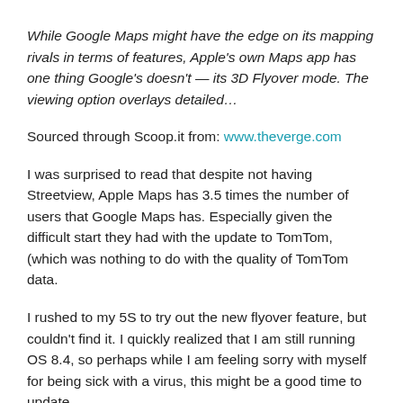While Google Maps might have the edge on its mapping rivals in terms of features, Apple's own Maps app has one thing Google's doesn't — its 3D Flyover mode. The viewing option overlays detailed…
Sourced through Scoop.it from: www.theverge.com
I was surprised to read that despite not having Streetview, Apple Maps has 3.5 times the number of users that Google Maps has. Especially given the difficult start they had with the update to TomTom, (which was nothing to do with the quality of TomTom data.
I rushed to my 5S to try out the new flyover feature, but couldn't find it. I quickly realized that I am still running OS 8.4, so perhaps while I am feeling sorry with myself for being sick with a virus, this might be a good time to update